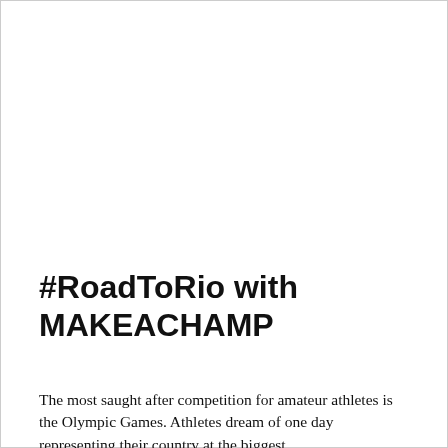#RoadToRio with MAKEACHAMP
The most saught after competition for amateur athletes is the Olympic Games. Athletes dream of one day representing their country at the biggest